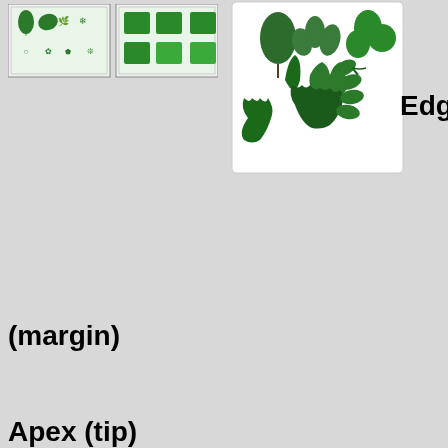[Figure (illustration): Two green botanical classification chart thumbnail images showing leaf shapes and types]
[Figure (photo): Photograph of various green leaves with different edge/margin shapes on a white background]
Edge
(margin)
Apex (tip)
Base
;Acuminate: Coming to a sharp, narrow, prolonged point. ;Acute: Coming to a sharp, but not prolonged point. ;Auriculate: Ear-shaped. ;Cordate: Heart-shaped with the notch at...